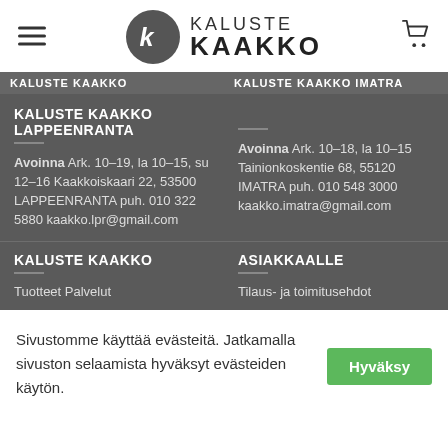[Figure (logo): Kaluste Kaakko logo with hamburger menu and cart icon in header]
KALUSTE KAAKKO | KALUSTE KAAKKO IMATRA
KALUSTE KAAKKO LAPPEENRANTA
Avoinna Ark. 10–19, la 10–15, su 12–16 Kaakkoiskaari 22, 53500 LAPPEENRANTA puh. 010 322 5880 kaakko.lpr@gmail.com
KALUSTE KAAKKO IMATRA
Avoinna Ark. 10–18, la 10–15 Tainionkoskentie 68, 55120 IMATRA puh. 010 548 3000 kaakko.imatra@gmail.com
KALUSTE KAAKKO
Tuotteet Palvelut
ASIAKKAALLE
Tilaus- ja toimitusehdot
Sivustomme käyttää evästeitä. Jatkamalla sivuston selaamista hyväksyt evästeiden käytön.